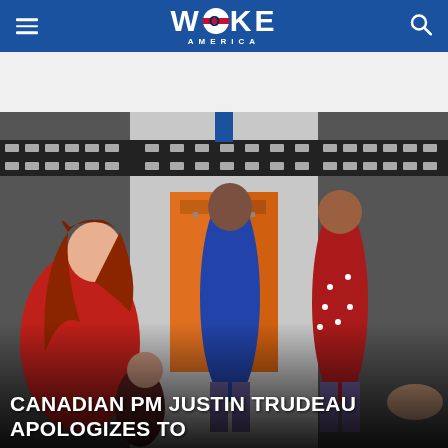WOKE AMERICA
[Figure (photo): A woman with long red hair wearing a red outfit sits and speaks with two young Black girls in a school-like setting with orange lockers and a film strip mural on the wall. One girl wears a blue checkered dress with purple tights, the other wears a red polka-dot dress with purple tights. Other children are visible in the background.]
CANADIAN PM JUSTIN TRUDEAU APOLOGIZES TO